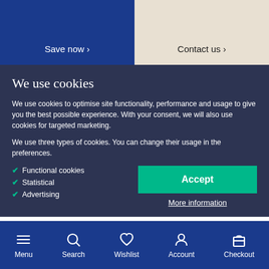Save now ›
Contact us ›
We use cookies
We use cookies to optimise site functionality, performance and usage to give you the best possible experience. With your consent, we will also use cookies for targeted marketing.
We use three types of cookies. You can change their usage in the preferences.
✔ Functional cookies
✔ Statistical
✔ Advertising
Accept
More information
Menu | Search | Wishlist | Account | Checkout